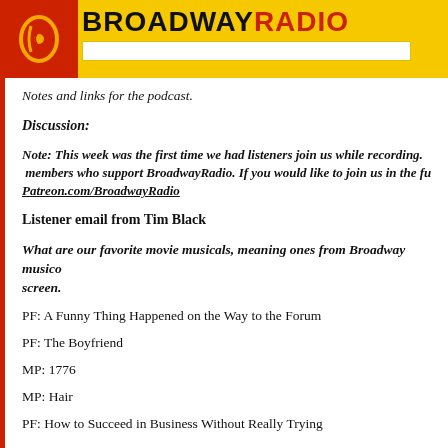BROADWAYRADIO
Notes and links for the podcast.
Discussion:
Note: This week was the first time we had listeners join us while recording. members who support BroadwayRadio. If you would like to join us in the fu Patreon.com/BroadwayRadio
Listener email from Tim Black
What are our favorite movie musicals, meaning ones from Broadway musicals brought to the screen.
PF: A Funny Thing Happened on the Way to the Forum
PF: The Boyfriend
MP: 1776
MP: Hair
PF: How to Succeed in Business Without Really Trying